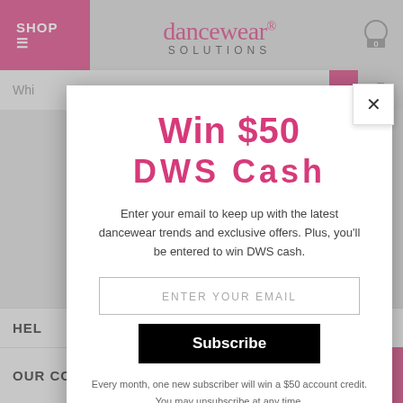[Figure (screenshot): Background of Dancewear Solutions website showing top navigation with SHOP button, logo, search bar, and footer sections for HELP and OUR COMPANY]
[Figure (screenshot): Modal popup overlay on Dancewear Solutions website with email subscription form to win $50 DWS Cash]
Win $50 DWS Cash
Enter your email to keep up with the latest dancewear trends and exclusive offers. Plus, you'll be entered to win DWS cash.
ENTER YOUR EMAIL
Subscribe
Every month, one new subscriber will win a $50 account credit. You may unsubscribe at any time.
Privacy Policy